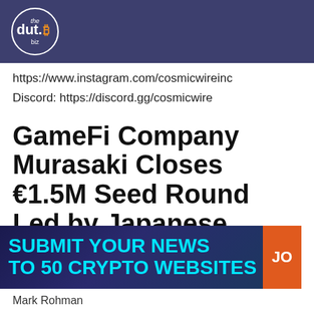[Figure (logo): the dut.B biz logo — white text on dark purple/indigo background with Bitcoin symbol]
https://www.instagram.com/cosmicwireinc
Discord: https://discord.gg/cosmicwire
GameFi Company Murasaki Closes €1.5M Seed Round Led by Japanese Incubate
[Figure (infographic): Ad banner: SUBMIT YOUR NEWS TO 50 CRYPTO WEBSITES with orange JOIN button]
Mark Rohman